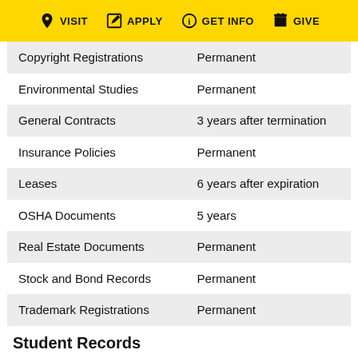VISIT  APPLY  GET INFO  GIVE
| Document Type | Retention |
| --- | --- |
| Copyright Registrations | Permanent |
| Environmental Studies | Permanent |
| General Contracts | 3 years after termination |
| Insurance Policies | Permanent |
| Leases | 6 years after expiration |
| OSHA Documents | 5 years |
| Real Estate Documents | Permanent |
| Stock and Bond Records | Permanent |
| Trademark Registrations | Permanent |
Student Records